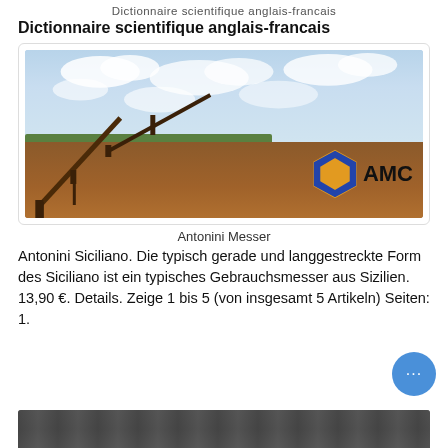Dictionnaire scientifique anglais-francais
Dictionnaire scientifique anglais-francais
[Figure (photo): Outdoor industrial mining/crushing plant with conveyor belts, red earth ground, green trees in background, cloudy sky, and AMC company logo in bottom right corner.]
Antonini Messer
Antonini Siciliano. Die typisch gerade und langgestreckte Form des Siciliano ist ein typisches Gebrauchsmesser aus Sizilien. 13,90 €. Details. Zeige 1 bis 5 (von insgesamt 5 Artikeln) Seiten: 1.
[Figure (photo): Partial view of an industrial indoor facility, bottom of the page.]